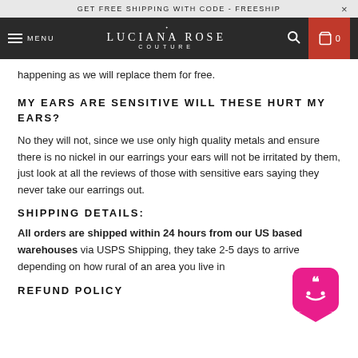GET FREE SHIPPING WITH CODE - FREESHIP
MENU | LUCIANA ROSE COUTURE | 0
happening as we will replace them for free.
MY EARS ARE SENSITIVE WILL THESE HURT MY EARS?
No they will not, since we use only high quality metals and ensure there is no nickel in our earrings your ears will not be irritated by them, just look at all the reviews of those with sensitive ears saying they never take our earrings out.
SHIPPING DETAILS:
All orders are shipped within 24 hours from our US based warehouses via USPS Shipping, they take 2-5 days to arrive depending on how rural of an area you live in
REFUND POLICY